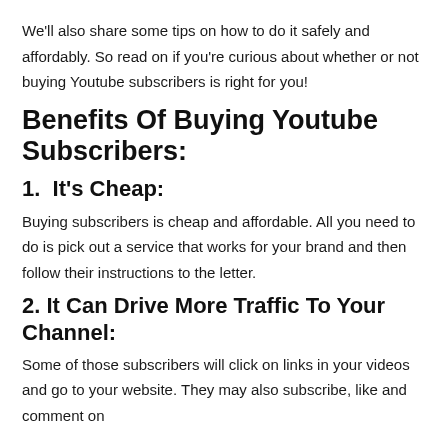We'll also share some tips on how to do it safely and affordably. So read on if you're curious about whether or not buying Youtube subscribers is right for you!
Benefits Of Buying Youtube Subscribers:
1.  It's Cheap:
Buying subscribers is cheap and affordable. All you need to do is pick out a service that works for your brand and then follow their instructions to the letter.
2. It Can Drive More Traffic To Your Channel:
Some of those subscribers will click on links in your videos and go to your website. They may also subscribe, like and comment on